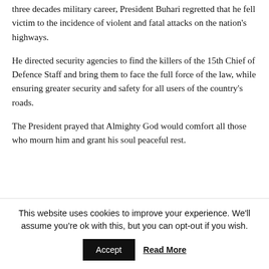three decades military career, President Buhari regretted that he fell victim to the incidence of violent and fatal attacks on the nation's highways.
He directed security agencies to find the killers of the 15th Chief of Defence Staff and bring them to face the full force of the law, while ensuring greater security and safety for all users of the country's roads.
The President prayed that Almighty God would comfort all those who mourn him and grant his soul peaceful rest.
[Figure (illustration): Decorative divider graphic with diagonal stripe pattern (partial, bottom of main content area)]
This website uses cookies to improve your experience. We'll assume you're ok with this, but you can opt-out if you wish.